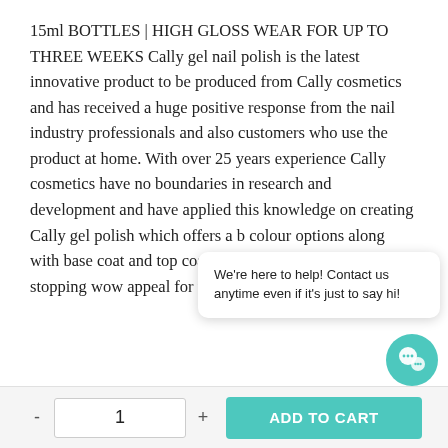15ml BOTTLES | HIGH GLOSS WEAR FOR UP TO THREE WEEKS Cally gel nail polish is the latest innovative product to be produced from Cally cosmetics and has received a huge positive response from the nail industry professionals and also customers who use the product at home. With over 25 years experience Cally cosmetics have no boundaries in research and development and have applied this knowledge on creating Cally gel polish which offers a b colour options along with base coat and top coat to ensure maximum show stopping wow appeal for your nails.
We're here to help! Contact us anytime even if it's just to say hi!